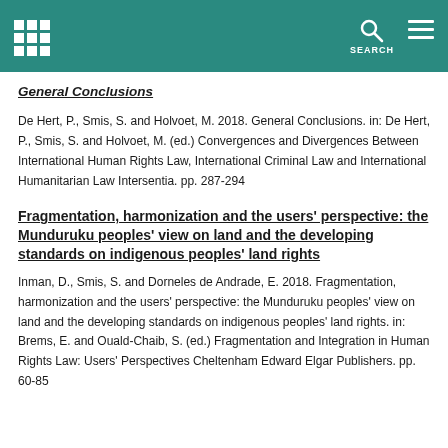SEARCH
General Conclusions
De Hert, P., Smis, S. and Holvoet, M. 2018. General Conclusions. in: De Hert, P., Smis, S. and Holvoet, M. (ed.) Convergences and Divergences Between International Human Rights Law, International Criminal Law and International Humanitarian Law Intersentia. pp. 287-294
Fragmentation, harmonization and the users' perspective: the Munduruku peoples' view on land and the developing standards on indigenous peoples' land rights
Inman, D., Smis, S. and Dorneles de Andrade, E. 2018. Fragmentation, harmonization and the users' perspective: the Munduruku peoples' view on land and the developing standards on indigenous peoples' land rights. in: Brems, E. and Ouald-Chaib, S. (ed.) Fragmentation and Integration in Human Rights Law: Users' Perspectives Cheltenham Edward Elgar Publishers. pp. 60-85